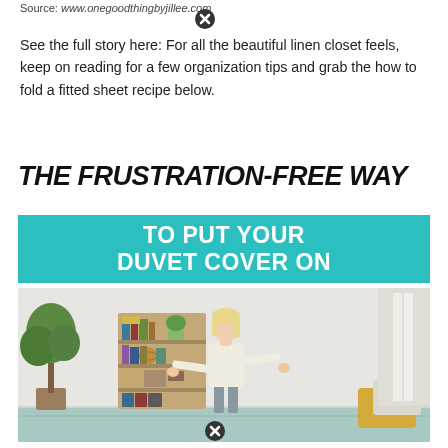Source: www.onegoodthingbyjillee.com
See the full story here: For all the beautiful linen closet feels, keep on reading for a few organization tips and grab the how to fold a fitted sheet recipe below.
THE FRUSTRATION-FREE WAY TO PUT YOUR DUVET COVER ON
[Figure (photo): A woman with blonde hair wearing a cream sweater and grey pants stands in a bedroom next to a bookshelf and a tree plant, with a bed in the foreground covered with a light green duvet and yellow pillow]